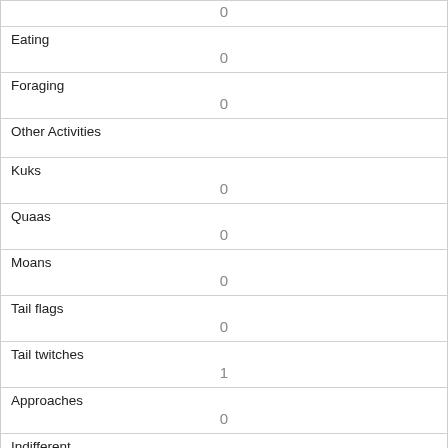|  | 0 |
| Eating | 0 |
| Foraging | 0 |
| Other Activities |  |
| Kuks | 0 |
| Quaas | 0 |
| Moans | 0 |
| Tail flags | 0 |
| Tail twitches | 1 |
| Approaches | 0 |
| Indifferent | 0 |